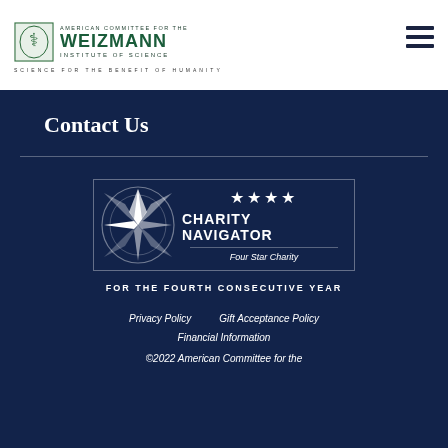[Figure (logo): American Committee for the Weizmann Institute of Science logo with emblem and tagline 'Science for the Benefit of Humanity']
Contact Us
[Figure (logo): Charity Navigator Four Star Charity badge with compass star emblem and four stars]
FOR THE FOURTH CONSECUTIVE YEAR
Privacy Policy   Gift Acceptance Policy
Financial Information
©2022 American Committee for the